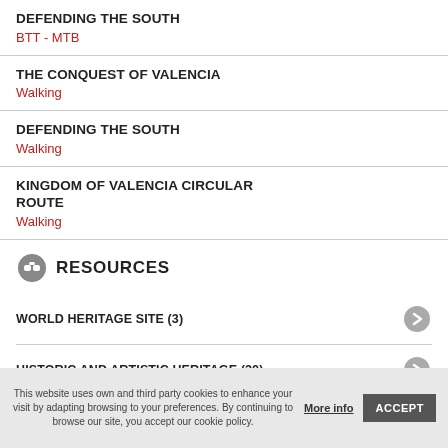DEFENDING THE SOUTH
BTT - MTB
THE CONQUEST OF VALENCIA
Walking
DEFENDING THE SOUTH
Walking
KINGDOM OF VALENCIA CIRCULAR ROUTE
Walking
RESOURCES
WORLD HERITAGE SITE (3)
HISTORIC AND ARTISTIC HERITAGE (20)
This website uses own and third party cookies to enhance your visit by adapting browsing to your preferences. By continuing to browse our site, you accept our cookie policy.